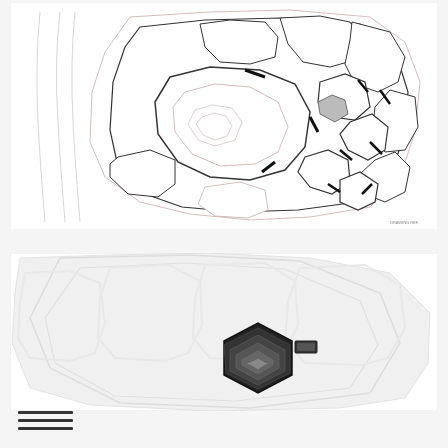[Figure (schematic): Architectural or engineering floor plan / site plan showing complex polygonal room outlines with chamfered corners. Lines are thin black and light red/pink on white background. Multiple nested hexagonal and organic shapes with small rectangular notches and openings indicating doors or passages. Small label text in bottom right corner.]
[Figure (schematic): Second architectural/engineering schematic showing large hexagonal and organic outline shapes in very light gray/white tones. A darker black hexagonal shape with concentric inner hexagons appears at the bottom center, suggesting a top-down view of a structural element. Upper portion shows faint large-scale plan outlines.]